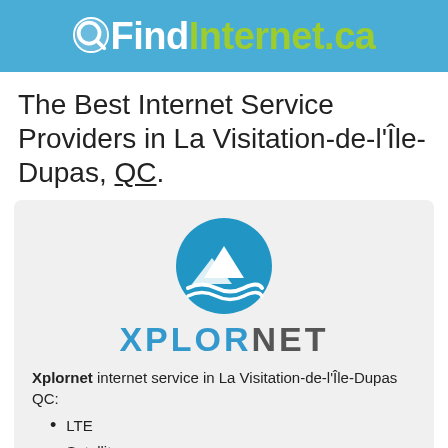QFindInternet.ca
The Best Internet Service Providers in La Visitation-de-l'Île-Dupas, QC.
[Figure (logo): Xplornet logo with blue circle icon showing mountains and waves, and the text XPLORNET in blue and gray letters]
Xplornet internet service in La Visitation-de-l'Île-Dupas QC:
LTE
Satellite
(877) 650-6167